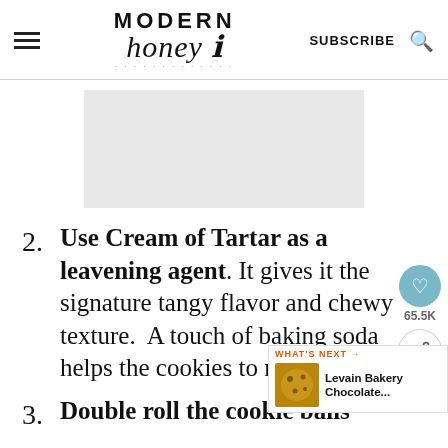Modern Honey — SUBSCRIBE
[Figure (other): Advertisement banner placeholder (gray rectangle)]
2. Use Cream of Tartar as a leavening agent. It gives it the signature tangy flavor and chewy texture. A touch of baking soda helps the cookies to rise as well.
3. Double roll the cookie balls